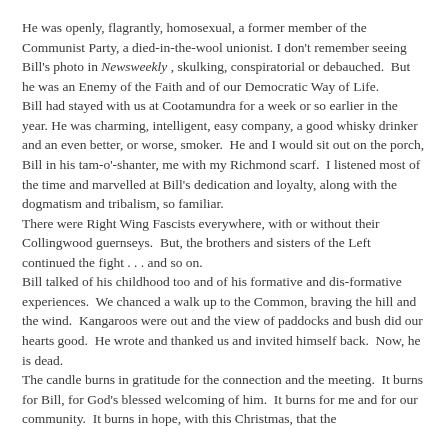He was openly, flagrantly, homosexual, a former member of the Communist Party, a died-in-the-wool unionist. I don't remember seeing Bill's photo in Newsweekly , skulking, conspiratorial or debauched.  But he was an Enemy of the Faith and of our Democratic Way of Life.
Bill had stayed with us at Cootamundra for a week or so earlier in the year. He was charming, intelligent, easy company, a good whisky drinker and an even better, or worse, smoker.  He and I would sit out on the porch, Bill in his tam-o'-shanter, me with my Richmond scarf.  I listened most of the time and marvelled at Bill's dedication and loyalty, along with the dogmatism and tribalism, so familiar.
There were Right Wing Fascists everywhere, with or without their Collingwood guernseys.  But, the brothers and sisters of the Left continued the fight . . . and so on.
Bill talked of his childhood too and of his formative and dis-formative experiences.  We chanced a walk up to the Common, braving the hill and the wind.  Kangaroos were out and the view of paddocks and bush did our hearts good.  He wrote and thanked us and invited himself back.  Now, he is dead.
The candle burns in gratitude for the connection and the meeting.  It burns for Bill, for God's blessed welcoming of him.  It burns for me and for our community.  It burns in hope, with this Christmas, that the